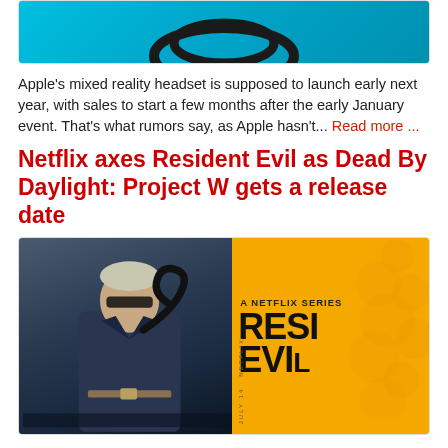[Figure (illustration): Partial view of a cyan/blue Apple mixed reality headset image, cropped at top]
Apple's mixed reality headset is supposed to launch early next year, with sales to start a few months after the early January event. That's what rumors say, as Apple hasn't... Read more ...
Netflix axes Resident Evil as Dead By Daylight: Project W gets a release date
[Figure (illustration): Resident Evil Netflix series promotional image. Left side shows a character in a dark coat against stormy background. Right side shows yellow background with 'A NETFLIX SERIES' text and 'RESI EVIL' title, July 14 release date.]
In the wake of a tepid response, Netflix decided to can their TV